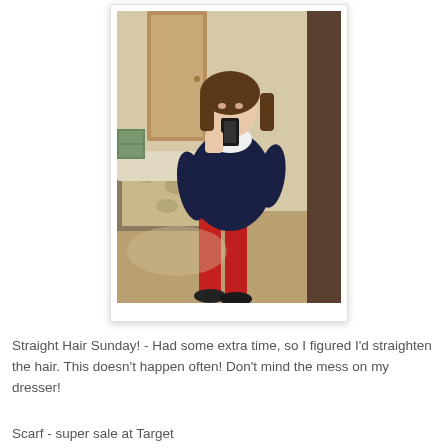[Figure (photo): A young woman taking a mirror selfie in a bedroom. She is wearing a navy blue short-sleeve top, a white scarf, red skinny pants, and black flat shoes. She is holding a black smartphone. The background shows a bedroom with a bed with a floral/patterned bedspread, tan/beige carpet, and a door in the upper left. The photo has a white border resembling a polaroid print.]
Straight Hair Sunday! - Had some extra time, so I figured I'd straighten the hair. This doesn't happen often! Don't mind the mess on my dresser!
Scarf - super sale at Target